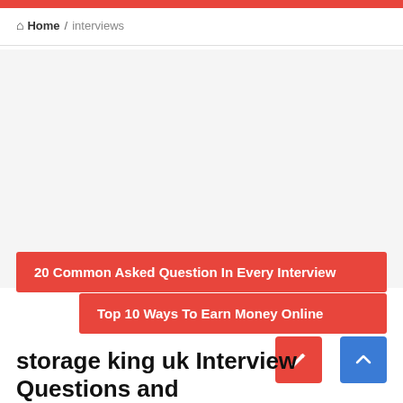Home / interviews
20 Common Asked Question In Every Interview
Top 10 Ways To Earn Money Online
storage king uk Interview Questions and